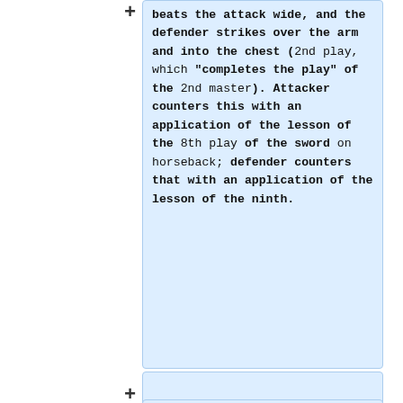beats the attack wide, and the defender strikes over the arm and into the chest (2nd play, which "completes the play" of the 2nd master). Attacker counters this with an application of the lesson of the 8th play of the sword on horseback; defender counters that with an application of the lesson of the ninth.
All other drills can be concieved of as variations on this